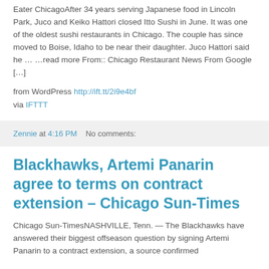Eater ChicagoAfter 34 years serving Japanese food in Lincoln Park, Juco and Keiko Hattori closed Itto Sushi in June. It was one of the oldest sushi restaurants in Chicago. The couple has since moved to Boise, Idaho to be near their daughter. Juco Hattori said he … …read more From:: Chicago Restaurant News From Google […]
from WordPress http://ift.tt/2i9e4bf
via IFTTT
Zennie at 4:16 PM   No comments:
Blackhawks, Artemi Panarin agree to terms on contract extension – Chicago Sun-Times
Chicago Sun-TimesNASHVILLE, Tenn. — The Blackhawks have answered their biggest offseason question by signing Artemi Panarin to a contract extension, a source confirmed